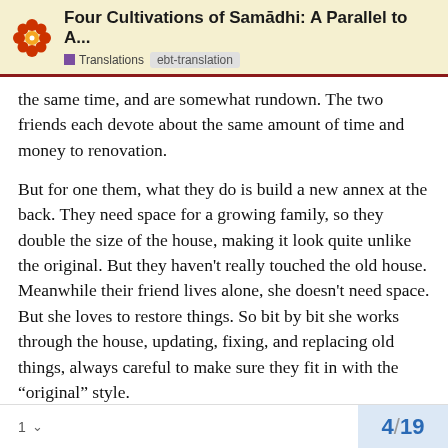Four Cultivations of Samādhi: A Parallel to A... | Translations | ebt-translation
the same time, and are somewhat rundown. The two friends each devote about the same amount of time and money to renovation.
But for one them, what they do is build a new annex at the back. They need space for a growing family, so they double the size of the house, making it look quite unlike the original. But they haven't really touched the old house. Meanwhile their friend lives alone, she doesn't need space. But she loves to restore things. So bit by bit she works through the house, updating, fixing, and replacing old things, always careful to make sure they fit in with the “original” style.
At the end of the day, which house is “older”?
1   4 / 19